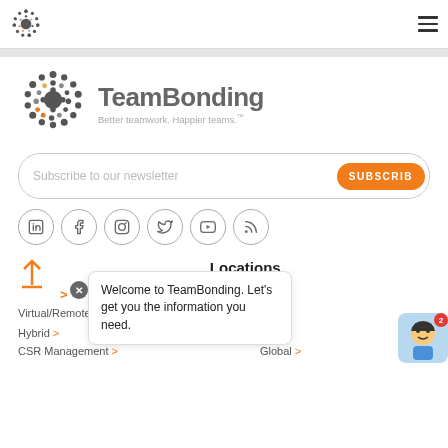TeamBonding logo and hamburger menu
[Figure (logo): TeamBonding dot-pattern logo with wordmark and tagline 'Better teamwork. Happier teams.']
Subscribe to our newsletter
[Figure (infographic): Row of 6 social media icon circles: LinkedIn, Facebook, Instagram, Twitter/X, YouTube, RSS]
Locations
Virtual/Remote >
Hybrid >
CSR Management >
Global >
Welcome to TeamBonding. Let's get you the information you need.